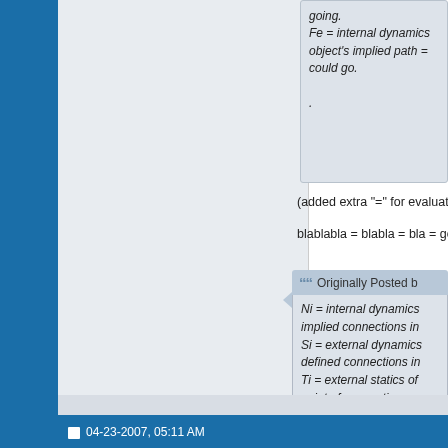Fe = internal dynamics object's implied path = could go.
.
(added extra "=" for evaluation p
blablabla = blabla = bla = good!
Originally Posted b
Ni = internal dynamics implied connections in Si = external dynamics defined connections in Ti = external statics of point of connections. Fi = internal statics of f point of connections.
blablabla = blabla = bla = missin
04-23-2007, 05:11 AM